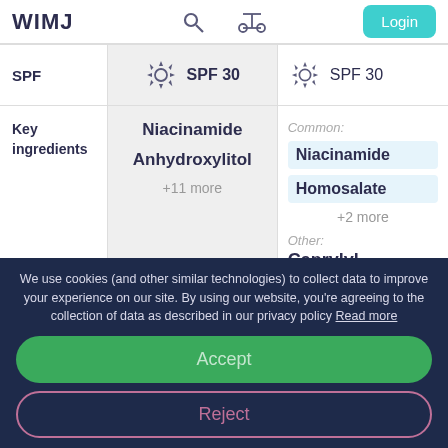WIMJ
|  | SPF 30 | SPF 30 |
| --- | --- | --- |
| SPF | SPF 30 | SPF 30 |
| Key ingredients | Niacinamide
Anhydroxylitol
+11 more | Common:
Niacinamide
Homosalate
+2 more
Other:
Caprylyl |
We use cookies (and other similar technologies) to collect data to improve your experience on our site. By using our website, you're agreeing to the collection of data as described in our privacy policy Read more
Accept
Reject